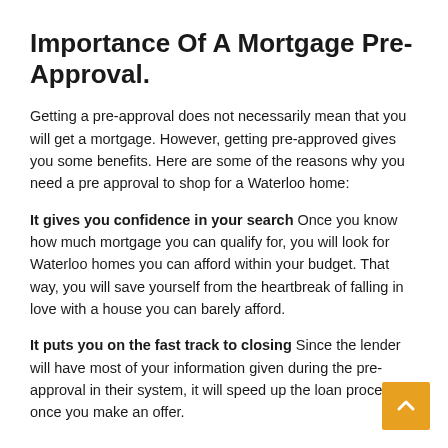Importance Of A Mortgage Pre-Approval.
Getting a pre-approval does not necessarily mean that you will get a mortgage. However, getting pre-approved gives you some benefits. Here are some of the reasons why you need a pre approval to shop for a Waterloo home:
It gives you confidence in your search Once you know how much mortgage you can qualify for, you will look for Waterloo homes you can afford within your budget. That way, you will save yourself from the heartbreak of falling in love with a house you can barely afford.
It puts you on the fast track to closing Since the lender will have most of your information given during the pre-approval in their system, it will speed up the loan process once you make an offer.